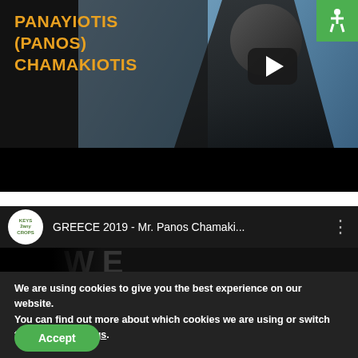[Figure (screenshot): Video thumbnail of Panayiotis (Panos) Chamakiotis, man in dark suit with arms crossed, golden text overlay on dark background, play button visible, accessibility icon in top-right corner]
[Figure (screenshot): YouTube video preview for 'GREECE 2019 - Mr. Panos Chamaki...' with Keys2anyCROPS logo circle, dark background with large WE text partially visible]
We are using cookies to give you the best experience on our website.
You can find out more about which cookies we are using or switch them off in settings.
Accept